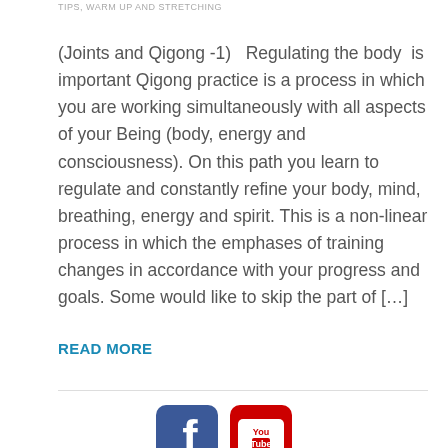TIPS, WARM UP AND STRETCHING
(Joints and Qigong -1)   Regulating the body  is important Qigong practice is a process in which you are working simultaneously with all aspects of your Being (body, energy and consciousness). On this path you learn to regulate and constantly refine your body, mind, breathing, energy and spirit. This is a non-linear process in which the emphases of training changes in accordance with your progress and goals. Some would like to skip the part of […]
READ MORE
[Figure (logo): Facebook and YouTube social media icons side by side]